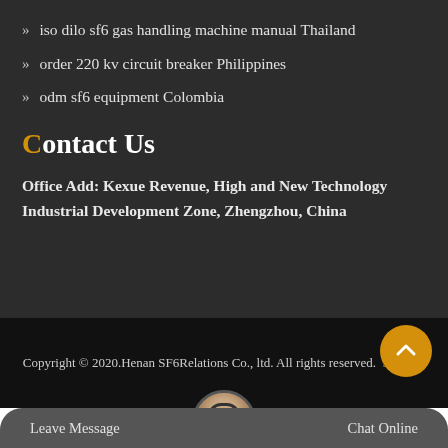iso dilo sf6 gas handling machine manual Thailand
order 220 kv circuit breaker Philippines
odm sf6 equipment Colombia
Contact Us
Office Add: Kexue Revenue, High and New Technology Industrial Development Zone, Zhengzhou, China
Copyright © 2020.Henan SF6Relations Co., ltd. All rights reserved. Sitemap
Leave Message
Chat Online